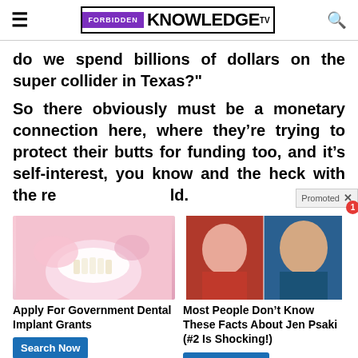Forbidden Knowledge TV
do we spend billions of dollars on the super collider in Texas?"
So there obviously must be a monetary connection here, where they’re trying to protect their butts for funding too, and it’s self-interest, you know and the heck with the re[st of the wor]ld.
[Figure (photo): Advertisement: dental procedure photo showing person receiving dental implant work]
Apply For Government Dental Implant Grants
[Figure (photo): Advertisement: photo of Jen Psaki and Donald Trump side by side]
Most People Don’t Know These Facts About Jen Psaki (#2 Is Shocking!)